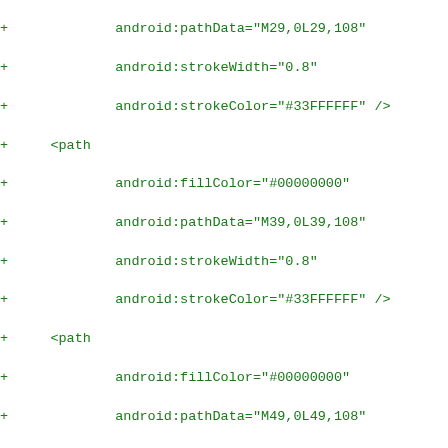Diff/code listing showing XML path data additions for Android vector drawable paths with strokeColor #33FFFFFF and fillColor #00000000